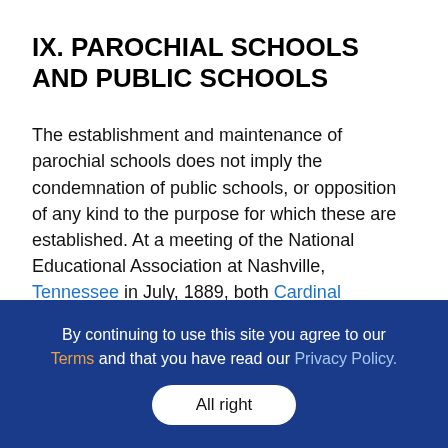IX. PAROCHIAL SCHOOLS AND PUBLIC SCHOOLS
The establishment and maintenance of parochial schools does not imply the condemnation of public schools, or opposition of any kind to the purpose for which these are established. At a meeting of the National Educational Association at Nashville, Tennessee in July, 1889, both Cardinal Gibbons, Archbishop of Baltimore, and Archbishop Keane, then rector of the Catholic University of America, stated the case in favor of denominational schools, and made it
By continuing to use this site you agree to our Terms and that you have read our Privacy Policy. All right